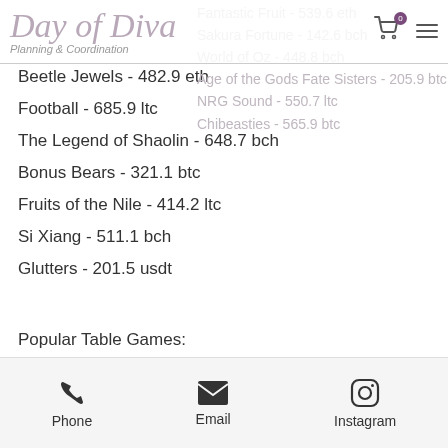Day of Diva — Planning & Coordination
Fantastic Fruit - 539.6 eth
Sakura Fortune - 142.6 bch
World of Oz - 448.8 bch
Age of the Gods Fate Sisters - 205.9 btc
NRG Sound - 550.7 ltc
Chibeasties - 565.9 btc
Beetle Jewels - 482.9 eth
Football - 685.9 ltc
The Legend of Shaolin - 648.7 bch
Bonus Bears - 321.1 btc
Fruits of the Nile - 414.2 ltc
Si Xiang - 511.1 bch
Glutters - 201.5 usdt
Popular Table Games:
Sportsbet.io Roman Legion
King Billy Casino Carousel
mBit Casino A Switch in Time
Phone  Email  Instagram